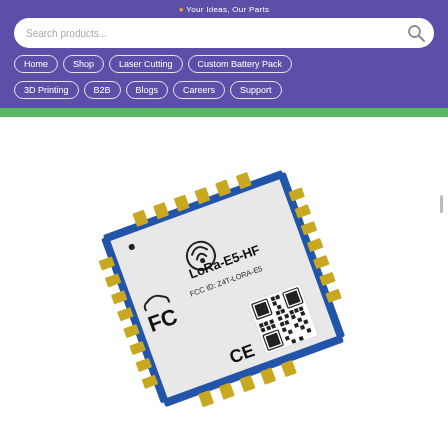Your Ideas, Our Parts
Search products...
Home > IoT Wireless > LORA WiFi > LoRa-E5 STM
Home
Shop
Laser Cutting
Custom Battery Pack
3D Printing
B2B
Blogs
Careers
Support
[Figure (photo): LoRa-E5-HF module — a small square SMD wireless module with silver metallic casing, gold pads around the edges. Text on top reads: LoRa-E5-HF, FCC ID: Z4T-LORA-E5, with FCC logo and CE mark. QR/barcode visible on the label.]